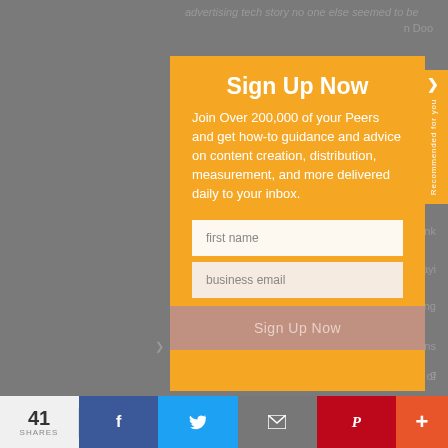advertising tech story no one else seemed to be
Sign Up Now
Join Over 200,000 of your Peers and get how-to guidance and advice on content creation, distribution, measurement, and more delivered daily to your inbox.
first name
business email
Sign Up Now
Recommended for you
41 SHARES